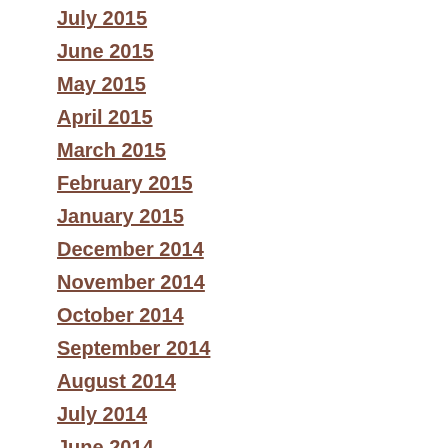July 2015
June 2015
May 2015
April 2015
March 2015
February 2015
January 2015
December 2014
November 2014
October 2014
September 2014
August 2014
July 2014
June 2014
May 2014
April 2014
March 2014
February 2014
January 2014